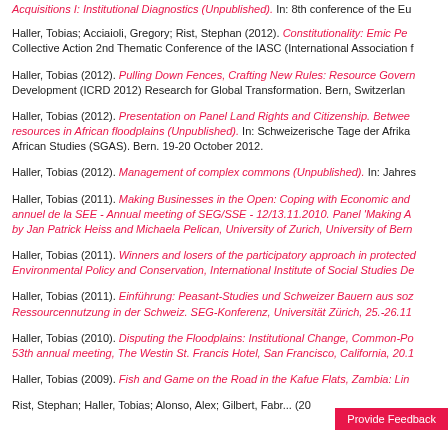Acquisitions I: Institutional Diagnostics (Unpublished). In: 8th conference of the Eu
Haller, Tobias; Acciaioli, Gregory; Rist, Stephan (2012). Constitutionality: Emic Pe... Collective Action 2nd Thematic Conference of the IASC (International Association f...
Haller, Tobias (2012). Pulling Down Fences, Crafting New Rules: Resource Govern... Development (ICRD 2012) Research for Global Transformation. Bern, Switzerlan...
Haller, Tobias (2012). Presentation on Panel Land Rights and Citizenship. Between resources in African floodplains (Unpublished). In: Schweizerische Tage der Afrika... African Studies (SGAS). Bern. 19-20 October 2012.
Haller, Tobias (2012). Management of complex commons (Unpublished). In: Jahres...
Haller, Tobias (2011). Making Businesses in the Open: Coping with Economic and... annuel de la SEE - Annual meeting of SEG/SSE - 12/13.11.2010. Panel 'Making A... by Jan Patrick Heiss and Michaela Pelican, University of Zurich, University of Bern...
Haller, Tobias (2011). Winners and losers of the participatory approach in protected... Environmental Policy and Conservation, International Institute of Social Studies De...
Haller, Tobias (2011). Einführung: Peasant-Studies und Schweizer Bauern aus soz... Ressourcennutzung in der Schweiz. SEG-Konferenz, Universität Zürich, 25.-26.11...
Haller, Tobias (2010). Disputing the Floodplains: Institutional Change, Common-Po... 53th annual meeting, The Westin St. Francis Hotel, San Francisco, California, 20.1...
Haller, Tobias (2009). Fish and Game on the Road in the Kafue Flats, Zambia: Lin...
Rist, Stephan; Haller, Tobias; Alonso, Alex; Gilbert, Fabr... (20...